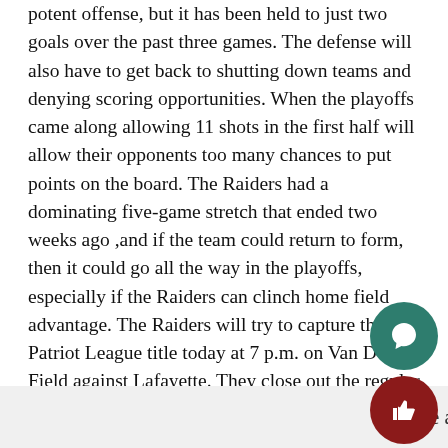potent offense, but it has been held to just two goals over the past three games. The defense will also have to get back to shutting down teams and denying scoring opportunities. When the playoffs came along allowing 11 shots in the first half will allow their opponents too many chances to put points on the board. The Raiders had a dominating five-game stretch that ended two weeks ago ,and if the team could return to form, then it could go all the way in the playoffs, especially if the Raiders can clinch home field advantage. The Raiders will try to capture the Patriot League title today at 7 p.m. on Van Doren Field against Lafayette. They close out the regular season at home against Princeton on Sunday at 1 p.m.
Leave a Comment